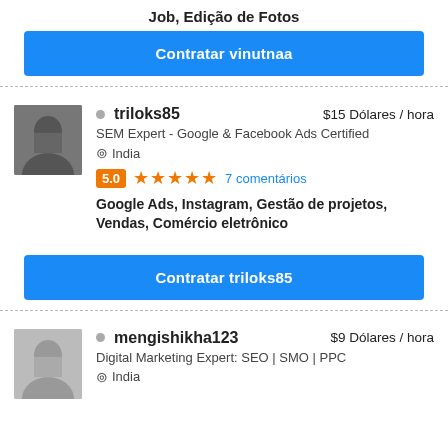Job, Edição de Fotos
Contratar vinutnaa
triloks85 — $15 Dólares / hora
SEM Expert - Google & Facebook Ads Certified
India
5.0 ★★★★★ 7 comentários
Google Ads, Instagram, Gestão de projetos, Vendas, Comércio eletrônico
Contratar triloks85
mengishikha123 — $9 Dólares / hora
Digital Marketing Expert: SEO | SMO | PPC
India